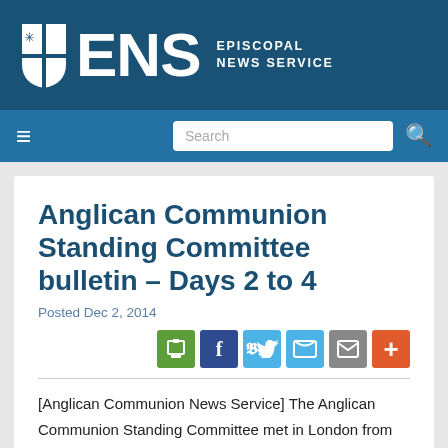ENS EPISCOPAL NEWS SERVICE
Anglican Communion Standing Committee bulletin – Days 2 to 4
Posted Dec 2, 2014
[Anglican Communion News Service] The Anglican Communion Standing Committee met in London from Nov. 29-Dec. 2. The following is a bulletin issued for days 2 to 4 of the meeting. The bulletin for day 1 is available...